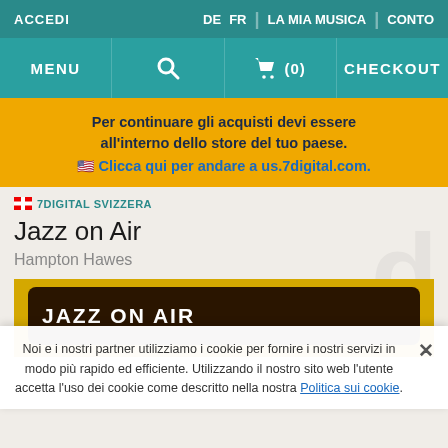ACCEDI | DE FR | LA MIA MUSICA | CONTO
MENU | (search) | (0) | CHECKOUT
Per continuare gli acquisti devi essere all'interno dello store del tuo paese. 🇺🇸 Clicca qui per andare a us.7digital.com.
🇨🇭 7DIGITAL SVIZZERA
Jazz on Air
Hampton Hawes
[Figure (photo): Album art for Jazz on Air by Hampton Hawes — dark brown rounded rectangle on gold background with white bold text reading JAZZ ON AIR]
Noi e i nostri partner utilizziamo i cookie per fornire i nostri servizi in modo più rapido ed efficiente. Utilizzando il nostro sito web l'utente accetta l'uso dei cookie come descritto nella nostra Politica sui cookie.